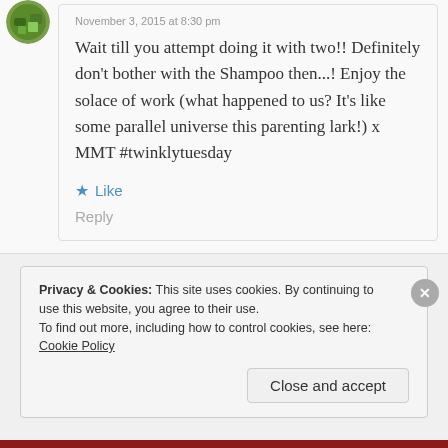November 3, 2015 at 8:30 pm
Wait till you attempt doing it with two!! Definitely don't bother with the Shampoo then...! Enjoy the solace of work (what happened to us? It's like some parallel universe this parenting lark!) x MMT #twinklytuesday
Like
Reply
Privacy & Cookies: This site uses cookies. By continuing to use this website, you agree to their use.
To find out more, including how to control cookies, see here: Cookie Policy
Close and accept